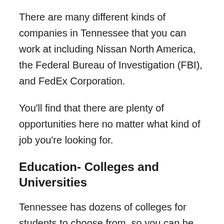There are many different kinds of companies in Tennessee that you can work at including Nissan North America, the Federal Bureau of Investigation (FBI), and FedEx Corporation.
You'll find that there are plenty of opportunities here no matter what kind of job you're looking for.
Education- Colleges and Universities
Tennessee has dozens of colleges for students to choose from, so you can be sure that there's a school here that will suit your needs. The state is also home to many public